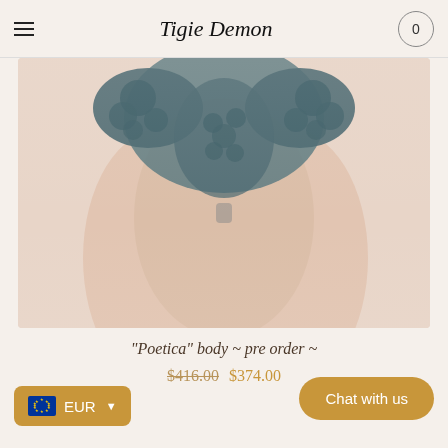Tigie Demon — 0
[Figure (photo): Close-up of a model wearing a dark teal/slate blue floral lace bodysuit lingerie piece against a soft peach/skin-toned background. The lace has intricate floral embroidery details at the top.]
"Poetica" body ~ pre order ~
$416.00  $374.00
Chat with us
EUR